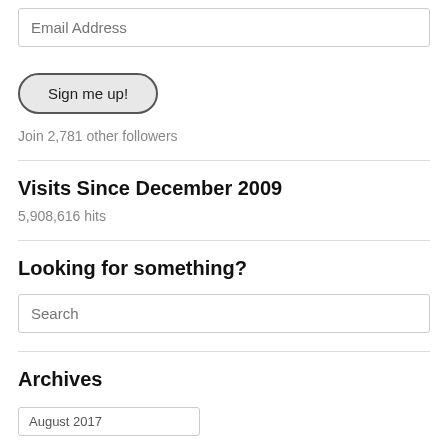Email Address
Sign me up!
Join 2,781 other followers
Visits Since December 2009
5,908,616 hits
Looking for something?
Search
Archives
August 2017